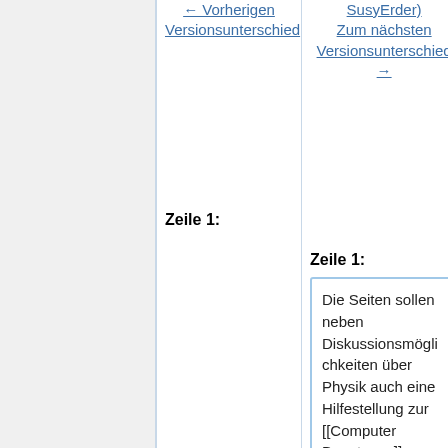← Vorherigen Versionsunterschied
SusyErder) Zum nächsten Versionsunterschied →
Zeile 1:
Zeile 1:
Die Seiten sollen neben Diskussionsmöglichkeiten über Physik auch eine Hilfestellung zur [[Computer Benutzung]] am [http://itp.tugraz.at/ Institut für Theoretische Physik] und dem [[Computerraum Physik]] bieten.
+ Es ist ausdrücklich